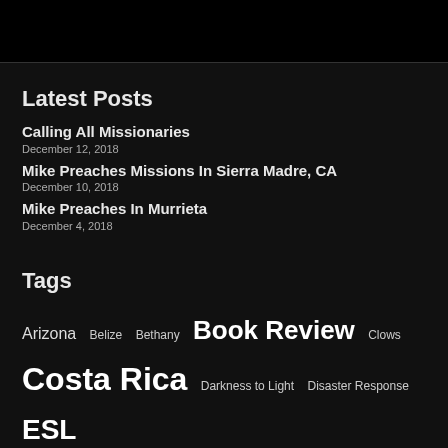Latest Posts
Calling All Missionaries
December 12, 2018
Mike Preaches Missions In Sierra Madre, CA
December 10, 2018
Mike Preaches In Murrieta
December 4, 2018
Tags
Arizona  Belize  Bethany  Book Review  Clows  Costa Rica  Darkness to Light  Disaster Response  ESL  Evangelism Explosion  featured  furlough  Grace of God  Haiti